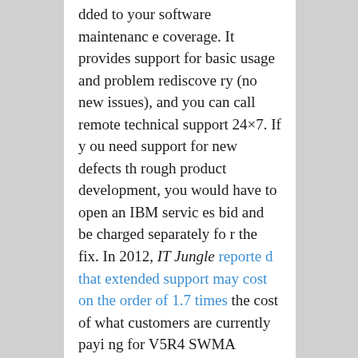dded to your software maintenance coverage. It provides support for basic usage and problem rediscovery (no new issues), and you can call remote technical support 24×7. If you need support for new defects through product development, you would have to open an IBM services bid and be charged separately for the fix. In 2012, IT Jungle reported that extended support may cost on the order of 1.7 times the cost of what customers are currently paying for V5R4 SWMA support, so be aware extended support isn't cheap. Contact IBM or your business partner for more information and pricing on Service Extension for i5/OS.
#3: Apply IBM i 7.1 Technology Refreshes
Under IBM's Technology Refresh p